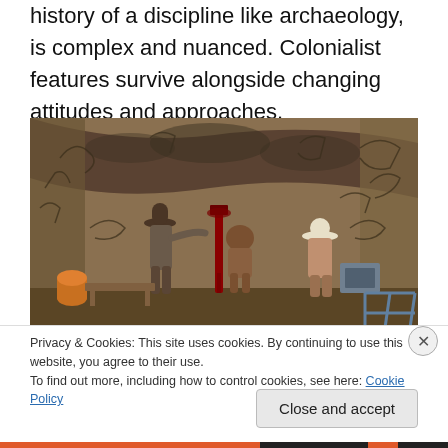history of a discipline like archaeology, is complex and nuanced. Colonialist features survive alongside changing attitudes and approaches.
[Figure (illustration): Painting or artistic illustration of workers/archaeologists inside a cave or underground chamber with ancient markings on the walls, examining equipment and artifacts.]
Privacy & Cookies: This site uses cookies. By continuing to use this website, you agree to their use.
To find out more, including how to control cookies, see here: Cookie Policy
Close and accept